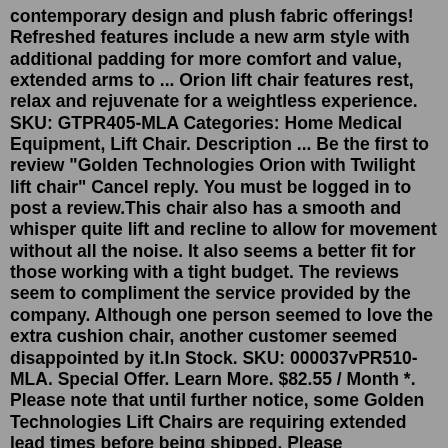contemporary design and plush fabric offerings! Refreshed features include a new arm style with additional padding for more comfort and value, extended arms to ... Orion lift chair features rest, relax and rejuvenate for a weightless experience. SKU: GTPR405-MLA Categories: Home Medical Equipment, Lift Chair. Description ... Be the first to review "Golden Technologies Orion with Twilight lift chair" Cancel reply. You must be logged in to post a review.This chair also has a smooth and whisper quite lift and recline to allow for movement without all the noise. It also seems a better fit for those working with a tight budget. The reviews seem to compliment the service provided by the company. Although one person seemed to love the extra cushion chair, another customer seemed disappointed by it.In Stock. SKU: 000037vPR510-MLA. Special Offer. Learn More. $82.55 / Month *. Please note that until further notice, some Golden Technologies Lift Chairs are requiring extended lead times before being shipped. Please